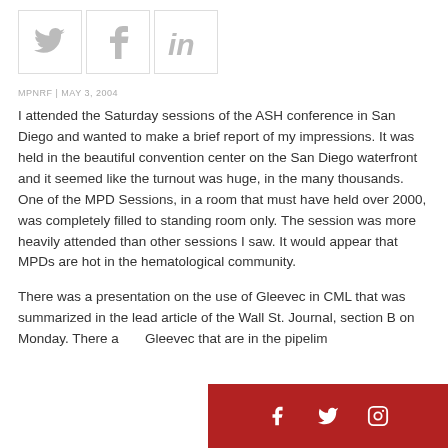[Figure (other): Row of three social media icon boxes (Twitter bird, Facebook f, LinkedIn in) in light gray outlined boxes]
MPNRF | MAY 3, 2004
I attended the Saturday sessions of the ASH conference in San Diego and wanted to make a brief report of my impressions. It was held in the beautiful convention center on the San Diego waterfront and it seemed like the turnout was huge, in the many thousands. One of the MPD Sessions, in a room that must have held over 2000, was completely filled to standing room only. The session was more heavily attended than other sessions I saw. It would appear that MPDs are hot in the hematological community.
There was a presentation on the use of Gleevec in CML that was summarized in the lead article of the Wall St. Journal, section B on Monday. There a... Gleevec that are in the pipelin...
[Figure (other): Red banner at bottom right with white Facebook, Twitter, and Instagram icons]